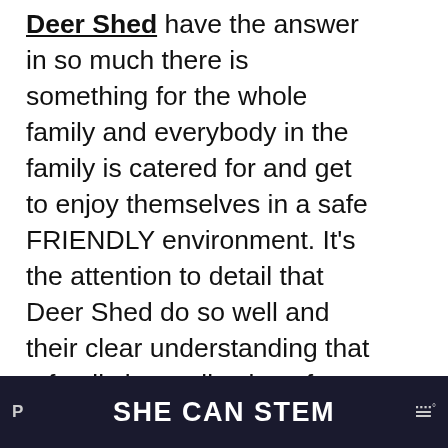Deer Shed have the answer in so much there is something for the whole family and everybody in the family is catered for and get to enjoy themselves in a safe FRIENDLY environment. It's the attention to detail that Deer Shed do so well and their clear understanding that a family is a collection of different ages, needs, interests and tastes. The title of the festival has a collection of themes and states 'THE FAMILY FRIENDLY MUSIC, ARTS AND SCIENCE FESTIVAL' which it delivers with bags of enthu...
[Figure (screenshot): Social media UI overlay on right side: heart/like button (blue circle with heart icon), count '1', share button (blue circle with share icon), and a 'WHAT'S NEXT' preview card showing a thumbnail image and text 'What to expect at De...']
P   SHE CAN STEM   W°